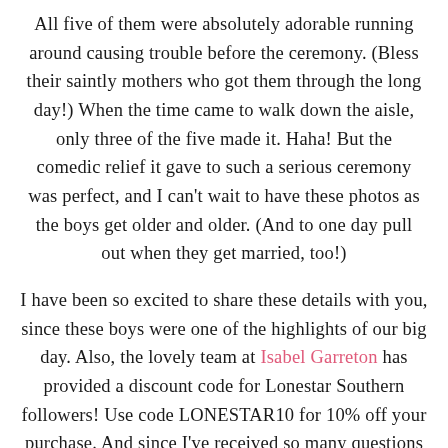All five of them were absolutely adorable running around causing trouble before the ceremony. (Bless their saintly mothers who got them through the long day!) When the time came to walk down the aisle, only three of the five made it. Haha! But the comedic relief it gave to such a serious ceremony was perfect, and I can't wait to have these photos as the boys get older and older. (And to one day pull out when they get married, too!)
I have been so excited to share these details with you, since these boys were one of the highlights of our big day. Also, the lovely team at Isabel Garreton has provided a discount code for Lonestar Southern followers! Use code LONESTAR10 for 10% off your purchase. And since I've received so many questions about the exact outfits, I wanted to let you know